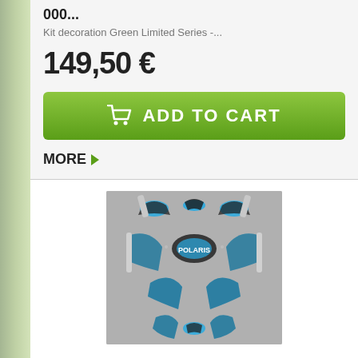000...
Kit decoration Green Limited Series -...
149,50 €
ADD TO CART
MORE
[Figure (photo): Product decoration kit layout showing blue and black graphic stickers for a Polaris snowmobile/ATV, displayed on a grey background with symmetric pattern]